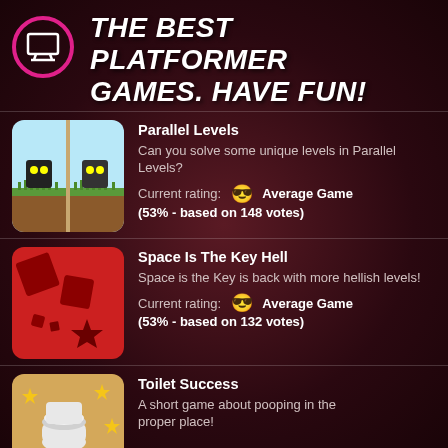THE BEST PLATFORMER GAMES. HAVE FUN!
[Figure (illustration): Game thumbnail for Parallel Levels: pixel art style with two black robot characters on green/brown ground with sky background]
Parallel Levels
Can you solve some unique levels in Parallel Levels?
Current rating: 😎 Average Game
(53% - based on 148 votes)
[Figure (illustration): Game thumbnail for Space Is The Key Hell: red background with dark red/maroon geometric shapes (squares and star)]
Space Is The Key Hell
Space is the Key is back with more hellish levels!
Current rating: 😎 Average Game
(53% - based on 132 votes)
[Figure (illustration): Game thumbnail for Toilet Success: sandy/tan background with toilet and gold stars]
Toilet Success
A short game about pooping in the proper place!